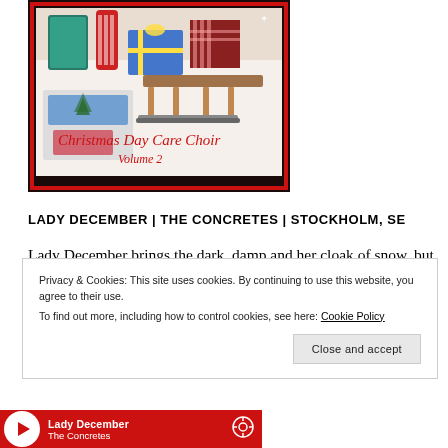[Figure (illustration): Album art for 'Christmas Day Care Choir Volume 2' showing colorful Christmas gifts and items with a red border frame. Text on image reads 'Christmas Day Care Choir Volume 2' in red cursive script.]
LADY DECEMBER | THE CONCRETES | STOCKHOLM, SE
Lady December brings the dark, damp and her cloak of snow, but when she sounds like Swedish indie band The Concretes, I am willing to forgive and forget. It's not a
Privacy & Cookies: This site uses cookies. By continuing to use this website, you agree to their use.
To find out more, including how to control cookies, see here: Cookie Policy
Close and accept
Lady December
The Concretes